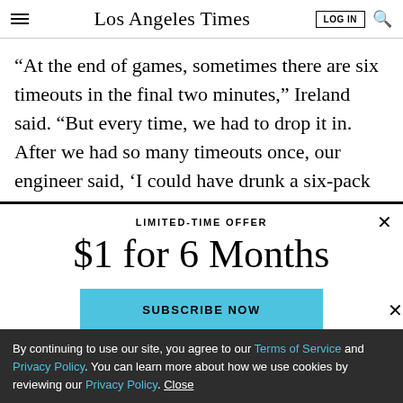Los Angeles Times
“At the end of games, sometimes there are six timeouts in the final two minutes,” Ireland said. “But every time, we had to drop it in. After we had so many timeouts once, our engineer said, ‘I could have drunk a six-pack
LIMITED-TIME OFFER
$1 for 6 Months
SUBSCRIBE NOW
By continuing to use our site, you agree to our Terms of Service and Privacy Policy. You can learn more about how we use cookies by reviewing our Privacy Policy. Close